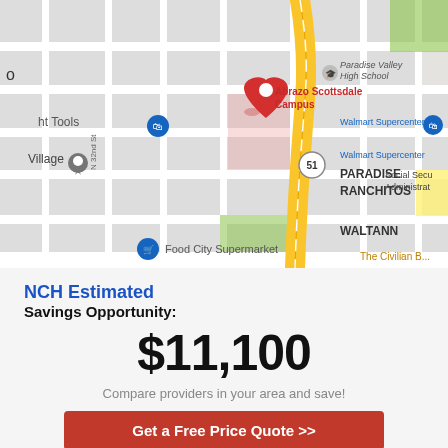[Figure (map): Google Maps view showing area around Paradise Valley High School and Abrazo Scottsdale Campus, with Highway 51 visible, and landmarks including Walmart Supercenter, Food City Supermarket, Paradise Ranchitos neighborhood, and Waltann area. A red location pin marks Abrazo Scottsdale Campus.]
NCH Estimated
Savings Opportunity:
$11,100
Compare providers in your area and save!
Get a Free Price Quote >>